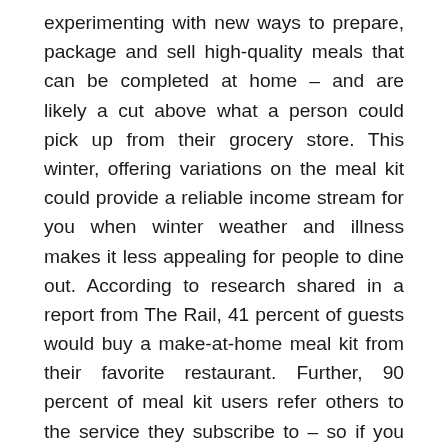experimenting with new ways to prepare, package and sell high-quality meals that can be completed at home – and are likely a cut above what a person could pick up from their grocery store. This winter, offering variations on the meal kit could provide a reliable income stream for you when winter weather and illness makes it less appealing for people to dine out. According to research shared in a report from The Rail, 41 percent of guests would buy a make-at-home meal kit from their favorite restaurant. Further, 90 percent of meal kit users refer others to the service they subscribe to – so if you execute your kit well, your chances of gaining more business are good. Kits are also a powerful means of developing traction on social media: After all, if you make it possible for someone to prepare an eye-catching, restaurant-quality meal at home, that person